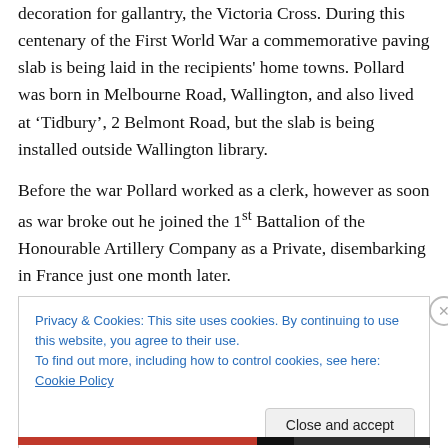decoration for gallantry, the Victoria Cross. During this centenary of the First World War a commemorative paving slab is being laid in the recipients' home towns. Pollard was born in Melbourne Road, Wallington, and also lived at 'Tidbury', 2 Belmont Road, but the slab is being installed outside Wallington library.
Before the war Pollard worked as a clerk, however as soon as war broke out he joined the 1st Battalion of the Honourable Artillery Company as a Private, disembarking in France just one month later.
Privacy & Cookies: This site uses cookies. By continuing to use this website, you agree to their use.
To find out more, including how to control cookies, see here: Cookie Policy